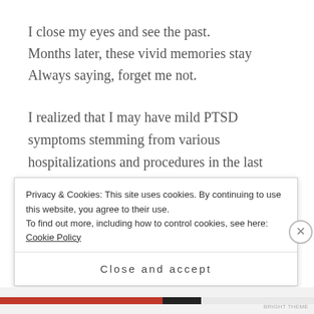I close my eyes and see the past.
Months later, these vivid memories stay
Always saying, forget me not.
I realized that I may have mild PTSD symptoms stemming from various hospitalizations and procedures in the last year.  I have nightmares and flashbacks of helplessly shaking the night I had a 104 degree fever and the two surgeries.  The memories haunt me but I am not afraid to admit that these
Privacy & Cookies: This site uses cookies. By continuing to use this website, you agree to their use.
To find out more, including how to control cookies, see here: Cookie Policy
Close and accept